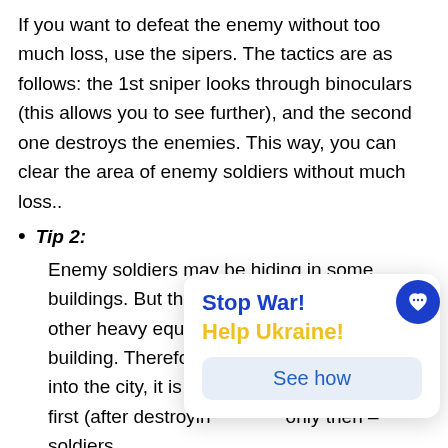Tip 1: If you want to defeat the enemy without too much loss, use the sipers. The tactics are as follows: the 1st sniper looks through binoculars (this allows you to see further), and the second one destroys the enemies. This way, you can clear the area of enemy soldiers without much loss..
Tip 2: Enemy soldiers may be hiding in some buildings. But they do not open fire if tanks or other heavy equipment drive past the building. Therefore, before sending troops into the city, it is advisable to conduct a battle first (after destroying...) and only then – soldiers.
Tip 3:
[Figure (other): Stop War! Help Ukraine! popup with See how button and heart icon circle button]